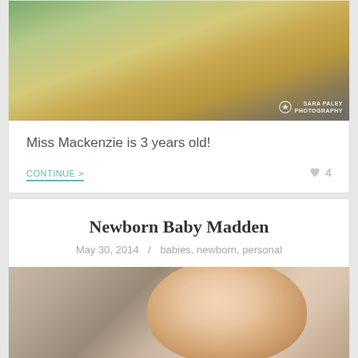[Figure (photo): Child in yellow striped shirt running outdoors holding wildflowers, with Sara Paley Photography watermark]
Miss Mackenzie is 3 years old!
CONTINUE >
♥ 4
Newborn Baby Madden
May 30, 2014  /  babies, newborn, personal
[Figure (photo): Sleeping newborn baby on fluffy gray fur blanket, close-up portrait]